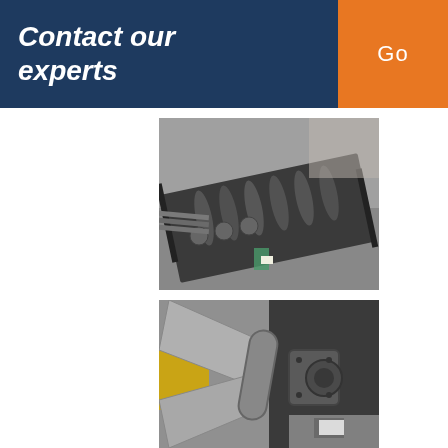Contact our experts
Go
[Figure (photo): Industrial roller conveyor components laid out on warehouse floor, showing multiple cylindrical rollers on a frame/track assembly with metal flanges, photographed in a workshop setting]
[Figure (photo): Close-up of industrial mixer or agitator components with angled metal paddle blades, showing heavy-duty mechanical equipment parts in a factory or workshop environment]